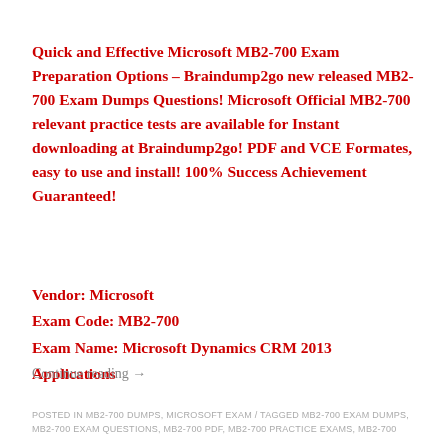Quick and Effective Microsoft MB2-700 Exam Preparation Options – Braindump2go new released MB2-700 Exam Dumps Questions! Microsoft Official MB2-700 relevant practice tests are available for Instant downloading at Braindump2go! PDF and VCE Formates, easy to use and install! 100% Success Achievement Guaranteed!
Vendor: Microsoft
Exam Code: MB2-700
Exam Name: Microsoft Dynamics CRM 2013 Applications
Continue reading →
POSTED IN MB2-700 DUMPS, MICROSOFT EXAM / TAGGED MB2-700 EXAM DUMPS, MB2-700 EXAM QUESTIONS, MB2-700 PDF, MB2-700 PRACTICE EXAMS, MB2-700